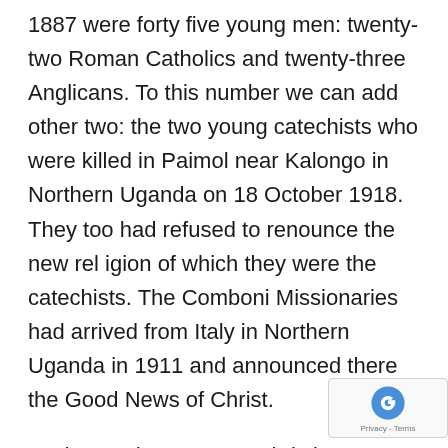1887 were forty five young men: twenty-two Roman Catholics and twenty-three Anglicans. To this number we can add other two: the two young catechists who were killed in Paimol near Kalongo in Northern Uganda on 18 October 1918. They too had refused to renounce the new religion of which they were the catechists. The Comboni Missionaries had arrived from Italy in Northern Uganda in 1911 and announced there the Good News of Christ.
God gave these young Christians a special grace to accept death rather than renounce the gift of faith they had just received. Pope Paul VI recognised and canonised them on 18 October 1964 as Holy Martyrs because they poured out their blood for